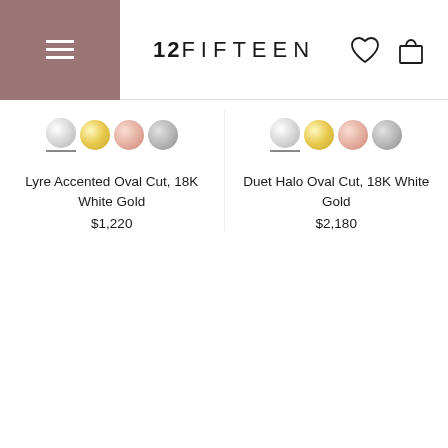12FIFTEEN — navigation header with menu, logo, wishlist and cart icons
[Figure (illustration): Four color swatches for product 1: white gold, yellow gold, rose gold, gray — with white gold underlined indicating selection]
Lyre Accented Oval Cut, 18K White Gold
$1,220
[Figure (illustration): Four color swatches for product 2: white gold, yellow gold, rose gold, gray — with white gold underlined indicating selection]
Duet Halo Oval Cut, 18K White Gold
$2,180